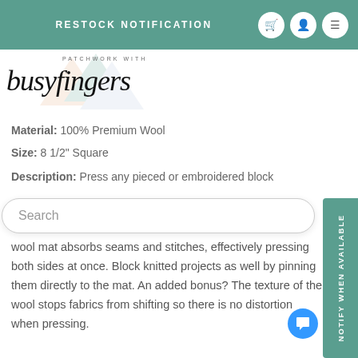RESTOCK NOTIFICATION
[Figure (logo): Patchwork with Busyfingers logo - script font with geometric watermark shapes]
Material: 100% Premium Wool
Size: 8 1/2" Square
Description: Press any pieced or embroidered block
wool mat absorbs seams and stitches, effectively pressing both sides at once. Block knitted projects as well by pinning them directly to the mat. An added bonus? The texture of the wool stops fabrics from shifting so there is no distortion when pressing.
Tips and Tricks
The pressing mat can be used with a dry iron on any surface. If using steam, place the mat on a protected surface since moisture does go through the mat and can harm the surface below. Never place the mat on a rotary cutting mat when pressing. The heat could warp the cutting mat. If mat feels damp after use, hang to